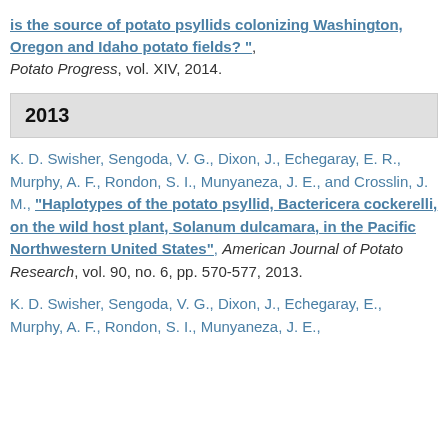is the source of potato psyllids colonizing Washington, Oregon and Idaho potato fields? ", Potato Progress, vol. XIV, 2014.
2013
K. D. Swisher, Sengoda, V. G., Dixon, J., Echegaray, E. R., Murphy, A. F., Rondon, S. I., Munyaneza, J. E., and Crosslin, J. M., "Haplotypes of the potato psyllid, Bactericera cockerelli, on the wild host plant, Solanum dulcamara, in the Pacific Northwestern United States", American Journal of Potato Research, vol. 90, no. 6, pp. 570-577, 2013.
K. D. Swisher, Sengoda, V. G., Dixon, J., Echegaray, E., Murphy, A. F., Rondon, S. I., Munyaneza, J. E.,